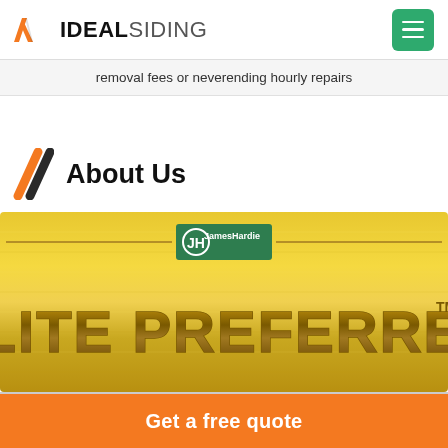IDEAL SIDING
removal fees or neverending hourly repairs
About Us
[Figure (logo): James Hardie Elite Preferred gold badge banner]
Get a free quote